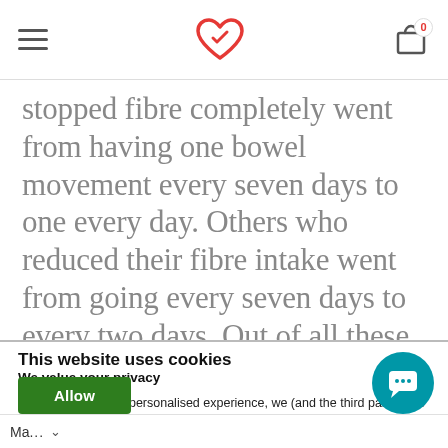Navigation header with hamburger menu, heart logo, and cart icon
stopped fibre completely went from having one bowel movement every seven days to one every day. Others who reduced their fibre intake went from going every seven days to every two days. Out of all these patients, the
This website uses cookies
We value your privacy
To offer you a more personalised experience, we (and the third parties we work with) collect info on how and when you use Healthpath. It helps us remember your details, show relevant ads and improve our services.
Allow
Ma...